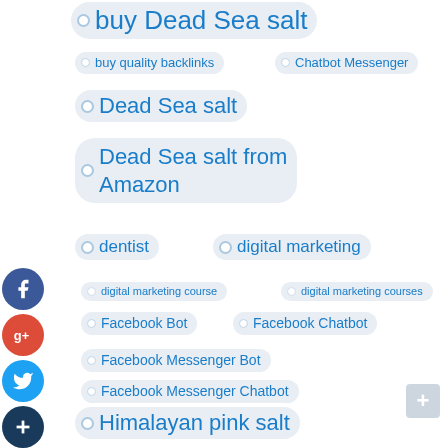buy Dead Sea salt
buy quality backlinks
Chatbot Messenger
Dead Sea salt
Dead Sea salt from Amazon
dentist
digital marketing
digital marketing course
digital marketing courses
Facebook Bot
Facebook Chatbot
Facebook Messenger Bot
Facebook Messenger Chatbot
Himalayan pink salt
Himalayan salt
IT Support Services
Messenger Bot